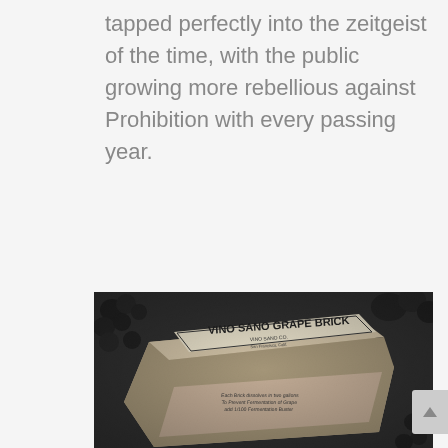tapped perfectly into the zeitgeist of the time, with the public growing more rebellious against Prohibition with every passing year.
[Figure (photo): Black and white photograph of a brick-shaped package labeled 'VINO SANO GRAPE BRICK' surrounded by grapes and grape leaves. The label reads 'VINO SANO CO.' and contains text about dissolving the brick in water.]